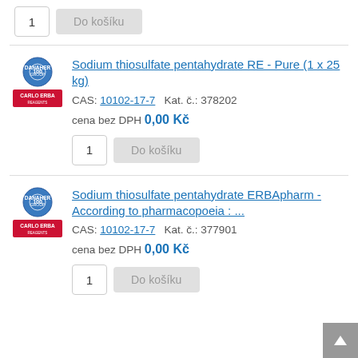1  Do košíku
[Figure (logo): Carlo Erba Reagents logo with blue circle icon and red CARLO ERBA text badge]
Sodium thiosulfate pentahydrate RE - Pure (1 x 25 kg)
CAS: 10102-17-7   Kat. č.: 378202
cena bez DPH 0,00 Kč
1  Do košíku
[Figure (logo): Carlo Erba Reagents logo with blue circle icon and red CARLO ERBA text badge]
Sodium thiosulfate pentahydrate ERBApharm - According to pharmacopoeia : ...
CAS: 10102-17-7   Kat. č.: 377901
cena bez DPH 0,00 Kč
1  Do košíku